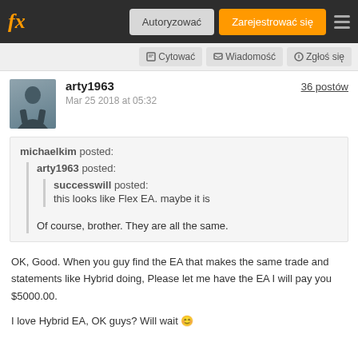fx | Autoryzować | Zarejestrować się
Cytować | Wiadomość | Zgłoś się
arty1963
Mar 25 2018 at 05:32
36 postów
michaelkim posted:
arty1963 posted:
successwill posted:
this looks like Flex EA. maybe it is

Of course, brother. They are all the same.
OK, Good. When you guy find the EA that makes the same trade and statements like Hybrid doing, Please let me have the EA I will pay you $5000.00.
I love Hybrid EA, OK guys? Will wait 😊